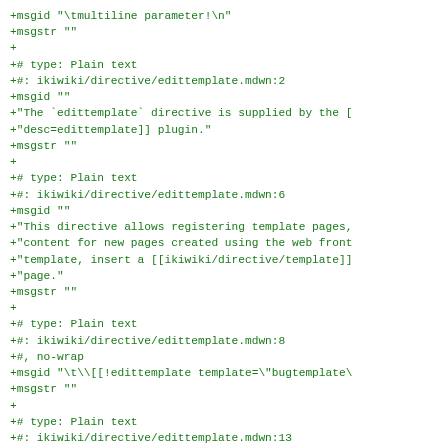+msgid "\tmultiline parameter!\n"
+msgstr ""
+
+# type: Plain text
+#: ikiwiki/directive/edittemplate.mdwn:2
+msgid ""
+"The `edittemplate` directive is supplied by the [
+"desc=edittemplate]] plugin."
+msgstr ""
+
+# type: Plain text
+#: ikiwiki/directive/edittemplate.mdwn:6
+msgid ""
+"This directive allows registering template pages,
+"content for new pages created using the web front
+"template, insert a [[ikiwiki/directive/template]]
+"page."
+msgstr ""
+
+# type: Plain text
+#: ikiwiki/directive/edittemplate.mdwn:8
+#, no-wrap
+msgid "\t\\[[!edittemplate template=\"bugtemplate\
+msgstr ""
+
+# type: Plain text
+#: ikiwiki/directive/edittemplate.mdwn:13
+msgid ""
+"In the above example, the page named \"bugtemplate
+"template to be used when any page named \"bugs/*\